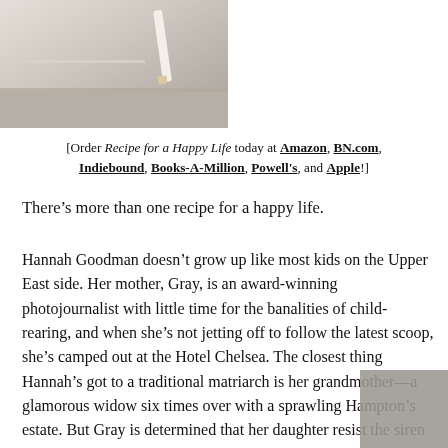[Figure (photo): Partial photograph of a book or document on a light surface, showing a pencil or pen, cropped at top-left of page.]
[Order Recipe for a Happy Life today at Amazon, BN.com, Indiebound, Books-A-Million, Powell's, and Apple!]
There’s more than one recipe for a happy life.
Hannah Goodman doesn’t grow up like most kids on the Upper East side. Her mother, Gray, is an award-winning photojournalist with little time for the banalities of child-rearing, and when she’s not jetting off to follow the latest scoop, she’s camped out at the Hotel Chelsea. The closest thing Hannah’s got to a traditional matriarch is her grandmother—a glamorous widow six times over with a sprawling Hampton’s estate. But Gray is determined that her daughter resist the siren song of the trust fund set, and make her own way in the world. So Hannah does just that—becoming a